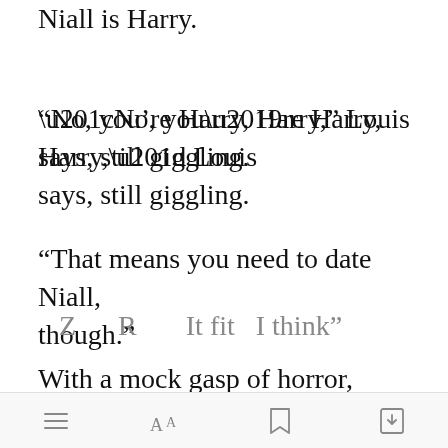Niall is Harry.
“No, you’re Harry, Harry,” Louis says, still giggling.
“That means you need to date Niall, though.”
With a mock gasp of horror, Louis shakes his head. “We can’t have that. You can k[Open in app]hen. That
...